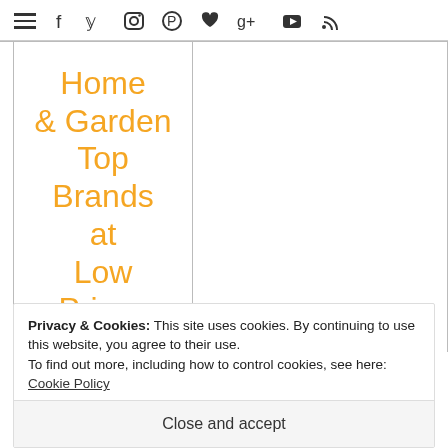☰ f y ☷ ⊕ ♥ g+ ▶ RSS
Home & Garden Top Brands at Low Prices
Privacy & Cookies: This site uses cookies. By continuing to use this website, you agree to their use.
To find out more, including how to control cookies, see here: Cookie Policy
Close and accept